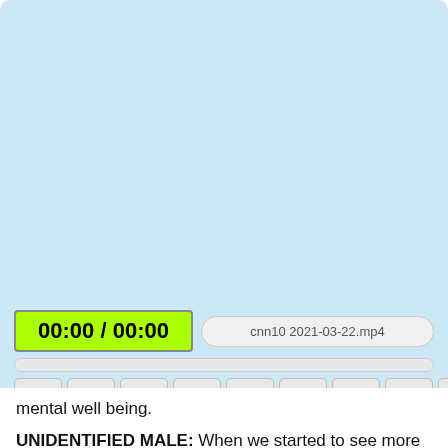[Figure (screenshot): Media player interface with light blue background showing time display '00:00 / 00:00', filename 'cnn10 2021-03-22.mp4', progress bar, playback control buttons (play, stop, rewind, fast-forward, X 1.0, R, A, B, C), and icon buttons for help, settings, volume, video, TXT download, MP3 download, MP4 download.]
mental well being.
UNIDENTIFIED MALE: When we started to see more